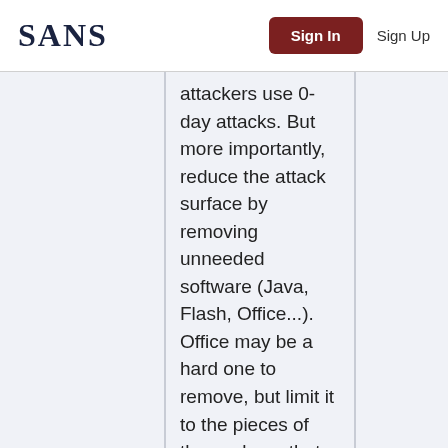SANS | Sign In | Sign Up
attackers use 0-day attacks. But more importantly, reduce the attack surface by removing unneeded software (Java, Flash, Office...). Office may be a hard one to remove, but limit it to the pieces of the package that